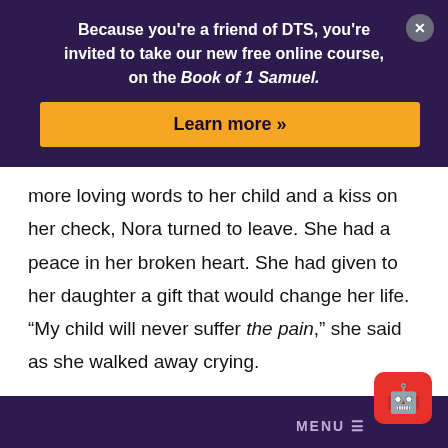Because you're a friend of DTS, you're invited to take our new free online course, on the Book of 1 Samuel.
Learn more »
more loving words to her child and a kiss on her check, Nora turned to leave. She had a peace in her broken heart. She had given to her daughter a gift that would change her life. "My child will never suffer the pain," she said as she walked away crying.
Today Nora still walks the streets of Bogota. This is a true story, not a fairy tale. Nora still lives in a cardboard shack,
MENU